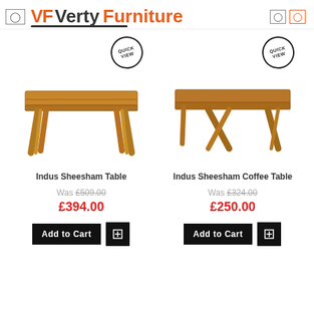VF Verty Furniture
[Figure (photo): Indus Sheesham wooden dining table with angled legs, top-down view]
QUICK VIEW
Indus Sheesham Table
Was £509.00
£394.00
[Figure (photo): Indus Sheesham wooden coffee table with angled legs]
QUICK VIEW
Indus Sheesham Coffee Table
Was £324.00
£250.00